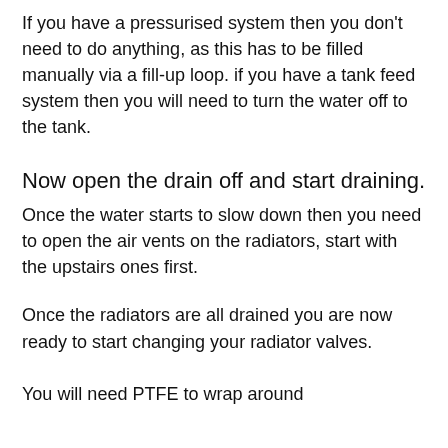If you have a pressurised system then you don't need to do anything, as this has to be filled manually via a fill-up loop. if you have a tank feed system then you will need to turn the water off to the tank.
Now open the drain off and start draining.
Once the water starts to slow down then you need to open the air vents on the radiators, start with the upstairs ones first.
Once the radiators are all drained you are now ready to start changing your radiator valves.
You will need PTFE to wrap around